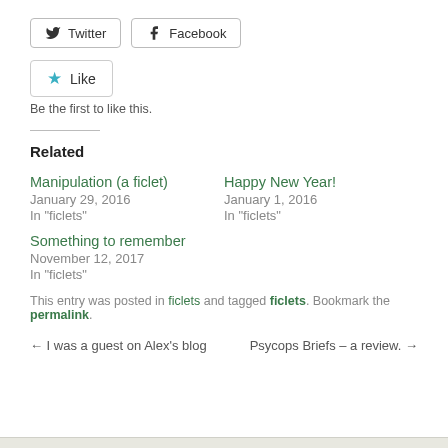[Figure (other): Twitter and Facebook share buttons]
[Figure (other): Like button widget with star icon]
Be the first to like this.
Related
Manipulation (a ficlet)
January 29, 2016
In "ficlets"
Happy New Year!
January 1, 2016
In "ficlets"
Something to remember
November 12, 2017
In "ficlets"
This entry was posted in ficlets and tagged ficlets. Bookmark the permalink.
← I was a guest on Alex's blog
Psycops Briefs – a review. →